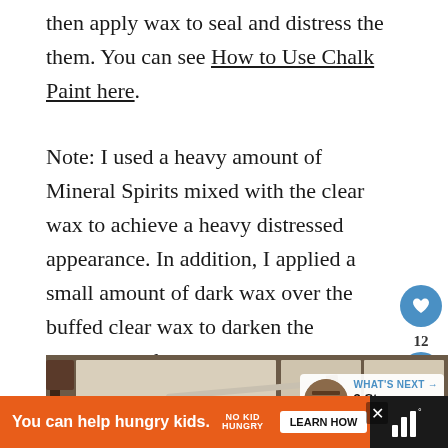then apply wax to seal and distress the them. You can see How to Use Chalk Paint here.
Note: I used a heavy amount of Mineral Spirits mixed with the clear wax to achieve a heavy distressed appearance. In addition, I applied a small amount of dark wax over the buffed clear wax to darken the appearance further.
[Figure (photo): Photo of painted wood panels or boards laid out on a table, painted in a light/white chalk paint finish, with a brush visible on the surface.]
WHAT'S NEXT → 3 Step Furniture...
You can help hungry kids.  NO KID HUNGRY  LEARN HOW